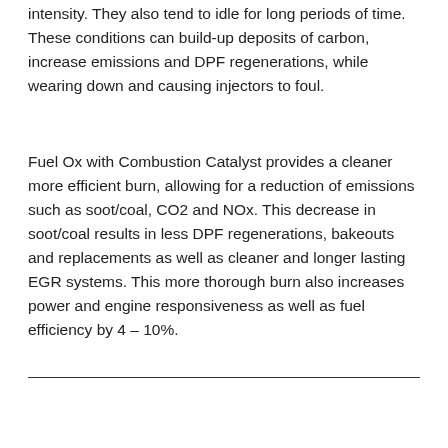intensity. They also tend to idle for long periods of time. These conditions can build-up deposits of carbon, increase emissions and DPF regenerations, while wearing down and causing injectors to foul.
Fuel Ox with Combustion Catalyst provides a cleaner more efficient burn, allowing for a reduction of emissions such as soot/coal, CO2 and NOx. This decrease in soot/coal results in less DPF regenerations, bakeouts and replacements as well as cleaner and longer lasting EGR systems. This more thorough burn also increases power and engine responsiveness as well as fuel efficiency by 4 – 10%.